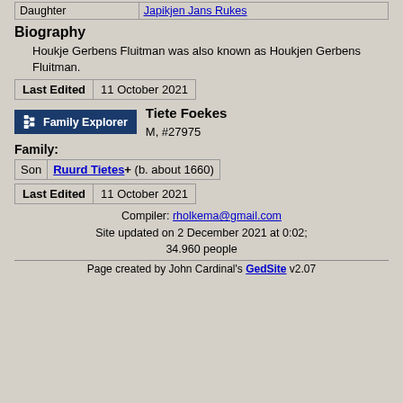|  |  |
| --- | --- |
| Daughter | Japikjen Jans Rukes |
Biography
Houkje Gerbens Fluitman was also known as Houkjen Gerbens Fluitman.
| Last Edited | 11 October 2021 |
| --- | --- |
[Figure (other): Family Explorer button icon]
Tiete Foekes M, #27975
Family:
| Son | Ruurd Tietes+ (b. about 1660) |
| --- | --- |
| Last Edited | 11 October 2021 |
| --- | --- |
Compiler: rholkema@gmail.com
Site updated on 2 December 2021 at 0:02;
34.960 people
Page created by John Cardinal's GedSite v2.07